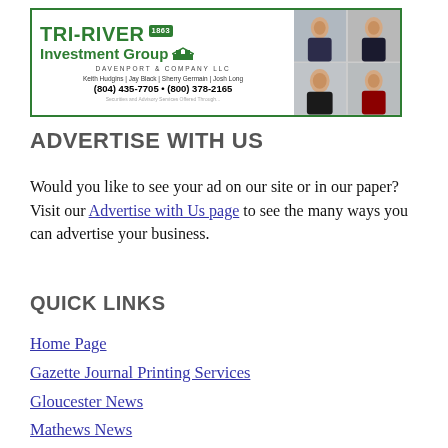[Figure (advertisement): TRI-RIVER Investment Group advertisement by Davenport & Company LLC, featuring four headshots of Keith Hudgins, Jay Black, Sherry Germain, and Josh Long, with phone numbers (804) 435-7705 and (800) 378-2165]
ADVERTISE WITH US
Would you like to see your ad on our site or in our paper? Visit our Advertise with Us page to see the many ways you can advertise your business.
QUICK LINKS
Home Page
Gazette Journal Printing Services
Gloucester News
Mathews News
Schools